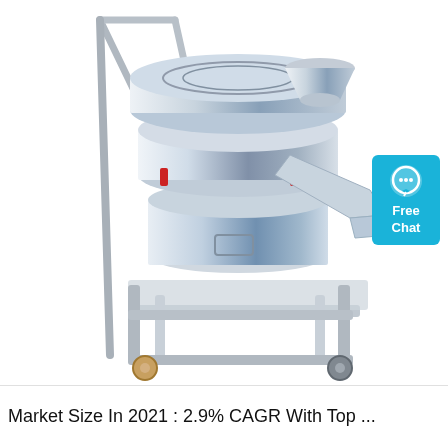[Figure (photo): Stainless steel vibratory sieve/screener machine on a wheeled metal frame stand, with a push handle bar on the left side. The machine has a cylindrical body with a vibrating sieve deck on top and a discharge spout. A cyan/teal 'Free Chat' badge with a speech bubble icon appears in the upper right corner.]
Market Size In 2021 : 2.9% CAGR With Top ...